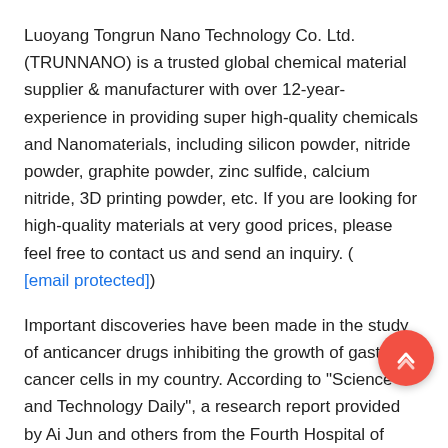Luoyang Tongrun Nano Technology Co. Ltd. (TRUNNANO) is a trusted global chemical material supplier & manufacturer with over 12-year-experience in providing super high-quality chemicals and Nanomaterials, including silicon powder, nitride powder, graphite powder, zinc sulfide, calcium nitride, 3D printing powder, etc. If you are looking for high-quality materials at very good prices, please feel free to contact us and send an inquiry. ( [email protected])
Important discoveries have been made in the study of anticancer drugs inhibiting the growth of gastric cancer cells in my country. According to "Science and Technology Daily", a research report provided by Ai Jun and others from the Fourth Hospital of Hebei Medical University showed that seven anticancer drugs including cisplatin had obvious inhibitory effects on gastric cancer cells (BGC-823) in vitro.